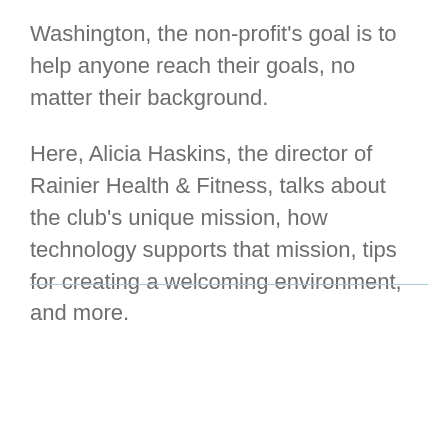Washington, the non-profit's goal is to help anyone reach their goals, no matter their background.
Here, Alicia Haskins, the director of Rainier Health & Fitness, talks about the club's unique mission, how technology supports that mission, tips for creating a welcoming environment, and more.